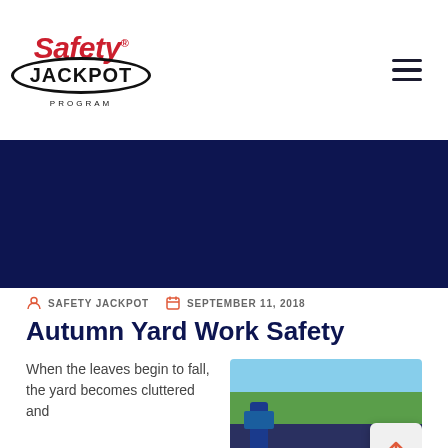[Figure (logo): Safety Jackpot Program logo — 'Safety' in red italic bold text with registered trademark, 'JACKPOT' in black bold inside an oval border, 'PROGRAM' in small spaced caps below]
SAFETY JACKPOT   SEPTEMBER 11, 2018
Autumn Yard Work Safety
When the leaves begin to fall, the yard becomes cluttered and
[Figure (photo): Outdoor yard work photo showing a person in blue clothing using a garden tool, with autumn leaves and greenery in background]